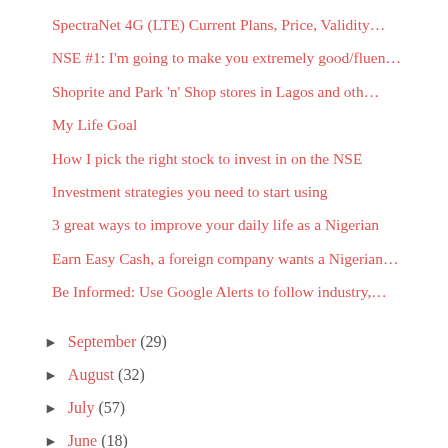SpectraNet 4G (LTE) Current Plans, Price, Validity…
NSE #1: I'm going to make you extremely good/fluen…
Shoprite and Park 'n' Shop stores in Lagos and oth…
My Life Goal
How I pick the right stock to invest in on the NSE
Investment strategies you need to start using
3 great ways to improve your daily life as a Nigerian
Earn Easy Cash, a foreign company wants a Nigerian…
Be Informed: Use Google Alerts to follow industry,…
► September (29)
► August (32)
► July (57)
► June (18)
► May (22)
► February (4)